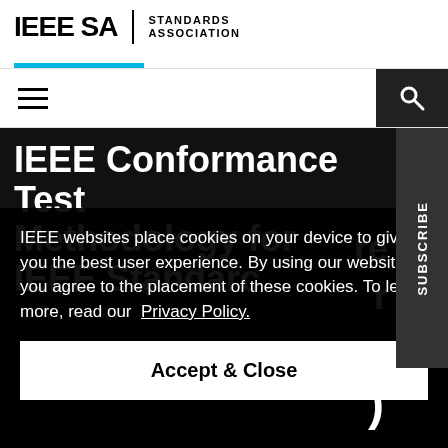[Figure (logo): IEEE SA Standards Association logo with cyan underline bar]
[Figure (screenshot): Navigation bar with hamburger menu icon and search button]
IEEE Conformance Test Methodology for IEEE Standards
IEEE websites place cookies on your device to give you the best user experience. By using our websites, you agree to the placement of these cookies. To learn more, read our Privacy Policy.
Accept & Close